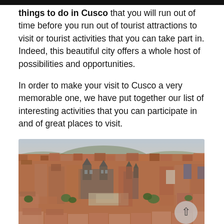There are so many things to do in Cusco that you will run out of time before you run out of tourist attractions to visit or tourist activities that you can take part in. Indeed, this beautiful city offers a whole host of possibilities and opportunities.
In order to make your visit to Cusco a very memorable one, we have put together our list of interesting activities that you can participate in and of great places to visit.
[Figure (photo): Aerial panoramic view of Cusco city with terracotta rooftops, colonial churches and cathedral visible in the cityscape, surrounded by hills]